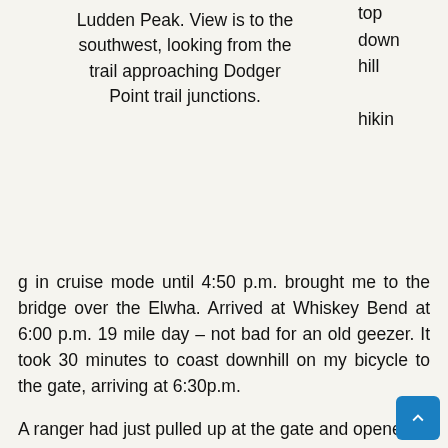Ludden Peak. View is to the southwest, looking from the trail approaching Dodger Point trail junctions.
top down hill hiking in cruise mode until 4:50 p.m. brought me to the bridge over the Elwha. Arrived at Whiskey Bend at 6:00 p.m. 19 mile day – not bad for an old geezer. It took 30 minutes to coast downhill on my bicycle to the gate, arriving at 6:30p.m.
A ranger had just pulled up at the gate and opened it. The first thing I notice about any government employee is whether they are wearing a gun strapped to their side. He was. It looked large and deadly. I felt intensely aware of my white privilege knowing that I was less likely to die in a an encounter